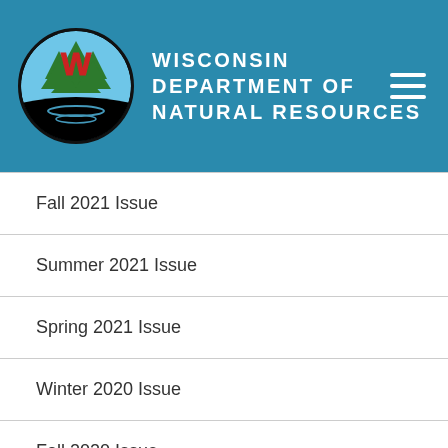Wisconsin Department of Natural Resources
Fall 2021 Issue
Summer 2021 Issue
Spring 2021 Issue
Winter 2020 Issue
Fall 2020 Issue
Summer 2020 Issue
Spring 2020 Issue